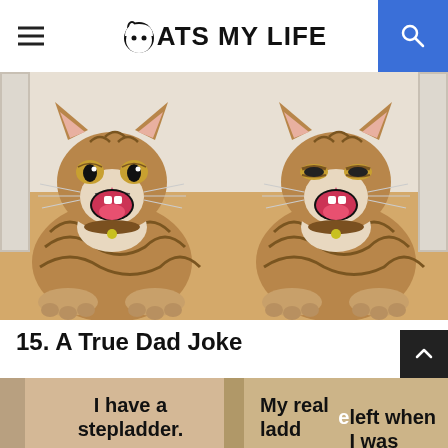CATS MY LIFE
[Figure (photo): Two side-by-side photos of a tabby cat lying on a wooden floor, smiling/laughing with mouth open, wearing a collar with a bell]
15. A True Dad Joke
[Figure (photo): Two side-by-side meme images of cats with overlaid text. Left: 'I have a stepladder.' Right: 'My real ladder left when I was']